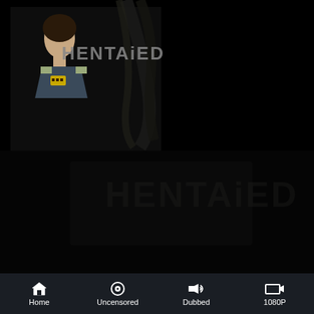[Figure (photo): Screenshot of a streaming app showing a thumbnail image of a person in a uniform with dark tentacle-like elements and title text 'HENTAiED' overlaid. The background is dark/black.]
Home   Uncensored   Dubbed   1080P